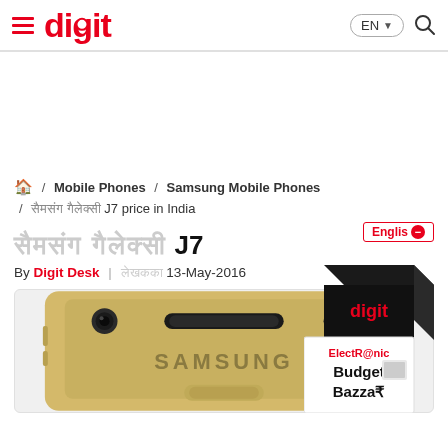≡ digit  EN ▼ 🔍
[Figure (other): Advertisement space / empty white banner area]
🏠 / Mobile Phones / Samsung Mobile Phones / [Hindi text] J7 price in India
[Hindi text] J7
By Digit Desk | [Hindi text] 13-May-2016
[Figure (photo): Samsung Galaxy J7 smartphone top view showing front camera, speaker grille, and SAMSUNG branding on gold-colored device]
[Figure (other): ElectR@nic Budget Bazaar advertisement box overlay with digit logo on black box and white box with gadget images]